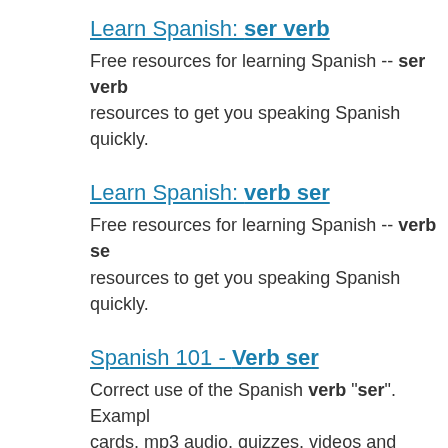Learn Spanish: ser verb
Free resources for learning Spanish -- ser verb resources to get you speaking Spanish quickly.
Learn Spanish: verb ser
Free resources for learning Spanish -- verb ser resources to get you speaking Spanish quickly.
Spanish 101 - Verb ser
Correct use of the Spanish verb "ser". Examples cards, mp3 audio, quizzes, videos and images.
Learn Spanish: ser verb
Free resources for learning Spanish -- ser verb resources to get you speaking Spanish quickly.